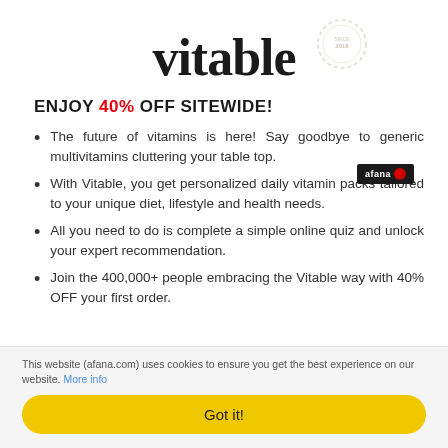[Figure (logo): Vitable brand logo in large serif bold font with a faint circular stamp/watermark to the right]
[Figure (logo): Small dark rectangular badge reading 'afana' with a red circle icon on the right side]
ENJOY 40% OFF SITEWIDE!
The future of vitamins is here! Say goodbye to generic multivitamins cluttering your table top.
With Vitable, you get personalized daily vitamin packs tailored to your unique diet, lifestyle and health needs.
All you need to do is complete a simple online quiz and unlock your expert recommendation.
Join the 400,000+ people embracing the Vitable way with 40% OFF your first order.
This website (afana.com) uses cookies to ensure you get the best experience on our website. More info
Got it!